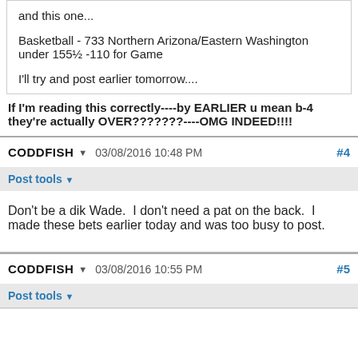and this one...
Basketball - 733 Northern Arizona/Eastern Washington under 155½ -110 for Game
I'll try and post earlier tomorrow....
If I'm reading this correctly----by EARLIER u mean b-4 they're actually OVER???????----OMG INDEED!!!!
CODDFISH  03/08/2016 10:48 PM  #4
Post tools
Don't be a dik Wade.  I don't need a pat on the back.  I made these bets earlier today and was too busy to post.
CODDFISH  03/08/2016 10:55 PM  #5
Post tools